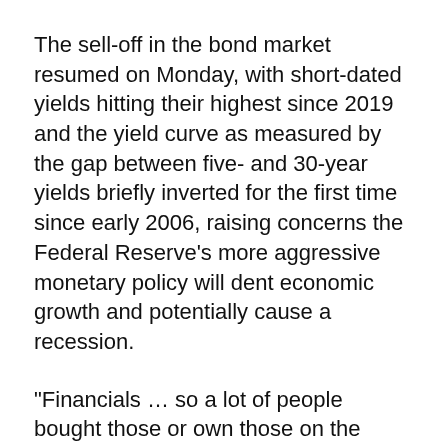The sell-off in the bond market resumed on Monday, with short-dated yields hitting their highest since 2019 and the yield curve as measured by the gap between five- and 30-year yields briefly inverted for the first time since early 2006, raising concerns the Federal Reserve's more aggressive monetary policy will dent economic growth and potentially cause a recession.
“Financials … so a lot of people bought those or own those on the basis of these will do better in a higher rate environment so I’m not surprised to see the financials back off relative to what is going on in the bond market ,” said Stephen Massocca, senior vice president at Wedbush Securities in San